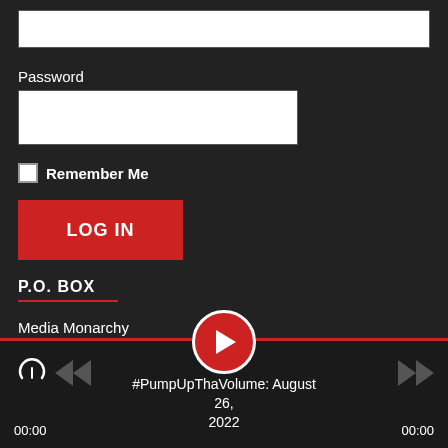[Figure (screenshot): Text input field (username/email) at top]
Password
[Figure (screenshot): Password input field]
Remember Me
[Figure (screenshot): LOG IN button (red)]
P.O. BOX
Media Monarchy
c/o James Evan Pilato
P.O. Box 22486
Santa Fe, NM 87502-2486
[Figure (screenshot): Audio player bar with play button, skip controls, progress line, time 00:00 / 00:00, episode title #PumpUpThaVolume: August 26, 2022]